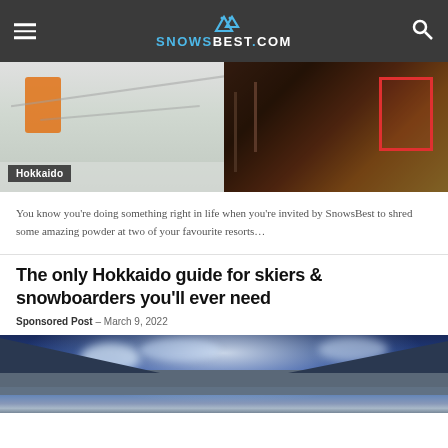SNOWSBEST.COM
[Figure (photo): Two side-by-side images: left shows a skier in deep powder snow in Hokkaido; right shows a Japanese street scene with neon signs at night. A label reading 'Hokkaido' appears in the lower-left corner.]
You know you’re doing something right in life when you’re invited by SnowsBest to shred some amazing powder at two of your favourite resorts…
The only Hokkaido guide for skiers & snowboarders you’ll ever need
Sponsored Post – March 9, 2022
[Figure (photo): Wide panoramic photo of Hokkaido city at night under dramatic blue cloudy sky with snow-capped mountains in the foreground.]